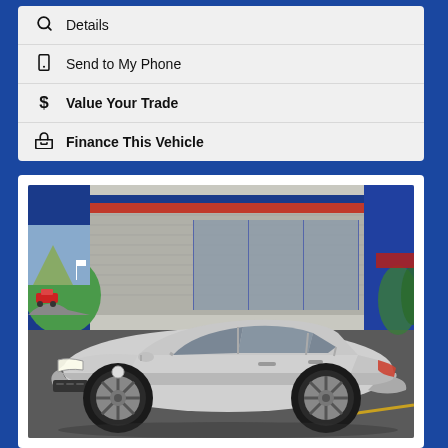Details
Send to My Phone
Value Your Trade
Finance This Vehicle
[Figure (photo): A silver Toyota Corolla sedan parked in a dealership lot. Behind the car is a dealership building with blue pillars, a mural of a car on a road, and a red and white striped sign. The car is shown from a front three-quarter angle.]